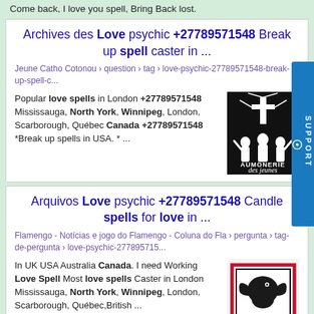Come back, I love you spell, Bring Back lost.
Archives des Love psychic +27789571548 Break up spell caster in ...
Jeune Catho Cotonou › question › tag › love-psychic-27789571548-break-up-spell-c...
Popular love spells in London +27789571548 Mississauga, North York, Winnipeg, London, Scarborough, Québec Canada +27789571548 *Break up spells in USA. * ...
[Figure (logo): Aumônerie des jeunes logo - white silhouettes of people with a cross on black background]
Arquivos Love psychic +27789571548 Candle spells for love in ...
Flamengo - Notícias e jogo do Flamengo - Coluna do Fla › pergunta › tag-de-pergunta › love-psychic-277895715...
In UK USA Australia Canada. I need Working Love Spell Most love spells Caster in London Mississauga, North York, Winnipeg, London, Scarborough, Québec,British ...
[Figure (logo): Coluna do Fla logo - eagle/bird graphic with red border on white background]